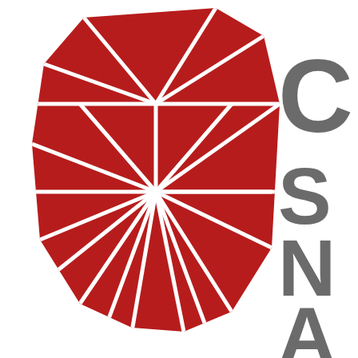[Figure (logo): Partial view of a logo featuring a red geometric faceted gem/crystal shape made of triangular polygonal segments on the left, and partial gray bold letters (visible: C, S, N, A) on the right side, on a white background.]